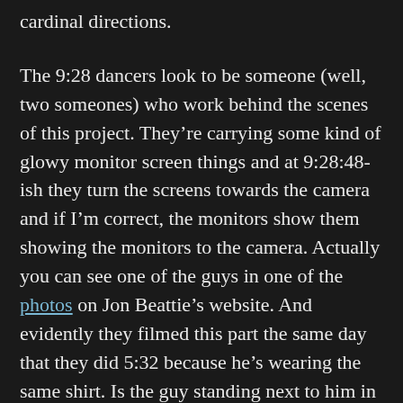cardinal directions.
The 9:28 dancers look to be someone (well, two someones) who work behind the scenes of this project. They're carrying some kind of glowy monitor screen things and at 9:28:48-ish they turn the screens towards the camera and if I'm correct, the monitors show them showing the monitors to the camera. Actually you can see one of the guys in one of the photos on Jon Beattie's website. And evidently they filmed this part the same day that they did 5:32 because he's wearing the same shirt. Is the guy standing next to him in that photo the other 9:28 dancer? He might be. We pick up another guy from behind the scenes at 9:29:55